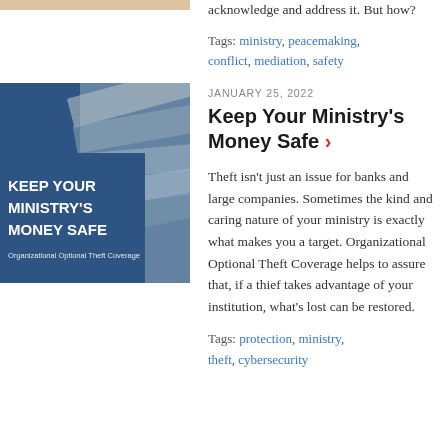acknowledge and address it. But how?
Tags: ministry, peacemaking, conflict, mediation, safety
[Figure (illustration): Book cover image with text 'Keep Your Ministry's Money Safe' and 'Organizational Optional Theft Coverage' on a blue background with dollar bills]
JANUARY 25, 2022
Keep Your Ministry's Money Safe
Theft isn’t just an issue for banks and large companies. Sometimes the kind and caring nature of your ministry is exactly what makes you a target. Organizational Optional Theft Coverage helps to assure that, if a thief takes advantage of your institution, what’s lost can be restored.
Tags: protection, ministry, theft, cybersecurity